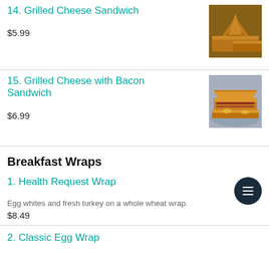14. Grilled Cheese Sandwich
$5.99
15. Grilled Cheese with Bacon Sandwich
$6.99
Breakfast Wraps
1. Health Request Wrap
Egg whites and fresh turkey on a whole wheat wrap.
$8.49
2. Classic Egg Wrap